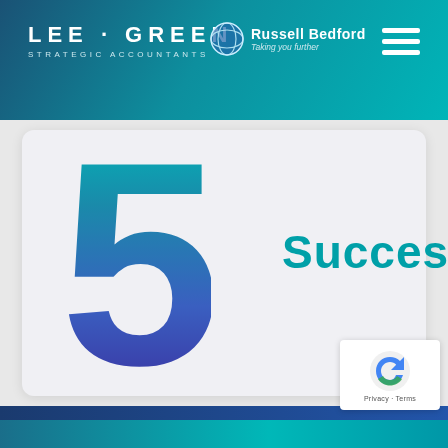LEE · GREEN STRATEGIC ACCOUNTANTS | Russell Bedford Taking you further
[Figure (infographic): Large gradient numeral '5' in teal-to-purple gradient on light grey card, with the word 'Success' in teal to its right]
5
Success
Privacy · Terms